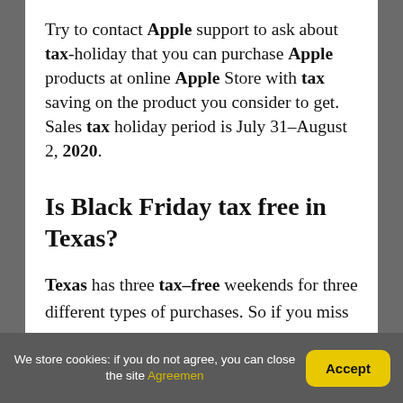Try to contact Apple support to ask about tax-holiday that you can purchase Apple products at online Apple Store with tax saving on the product you consider to get. Sales tax holiday period is July 31–August 2, 2020.
Is Black Friday tax free in Texas?
Texas has three tax–free weekends for three different types of purchases. So if you miss
We store cookies: if you do not agree, you can close the site Agreemen  Accept